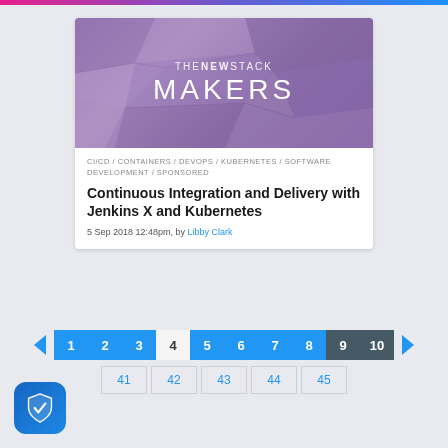[Figure (illustration): The New Stack Makers logo on stone texture background, purple toned]
CI/CD / CONTAINERS / DEVOPS / KUBERNETES / SOFTWARE DEVELOPMENT / SPONSORED
Continuous Integration and Delivery with Jenkins X and Kubernetes
5 Sep 2018 12:48pm, by Libby Clark
[Figure (infographic): Pagination control with arrows and numbered page buttons 1-10, with sub-pages 41-45]